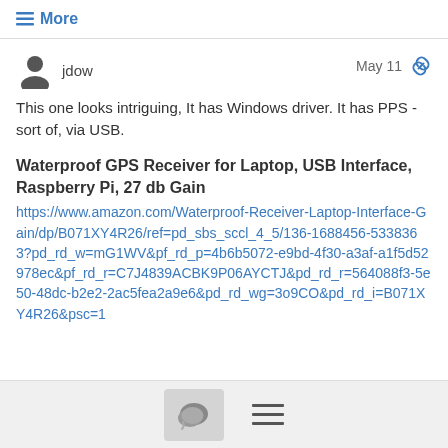≡ More
jdow
May 11
This one looks intriguing, It has Windows driver. It has PPS - sort of, via USB.
Waterproof GPS Receiver for Laptop, USB Interface, Raspberry Pi, 27 db Gain
https://www.amazon.com/Waterproof-Receiver-Laptop-Interface-Gain/dp/B071XY4R26/ref=pd_sbs_sccl_4_5/136-1688456-5338363?pd_rd_w=mG1WV&pf_rd_p=4b6b5072-e9bd-4f30-a3af-a1f5d52978ec&pf_rd_r=C7J4839ACBK9P06AYCTJ&pd_rd_r=564088f3-5e50-48dc-b2e2-2ac5fea2a9e6&pd_rd_wg=3o9CO&pd_rd_i=B071XY4R26&psc=1